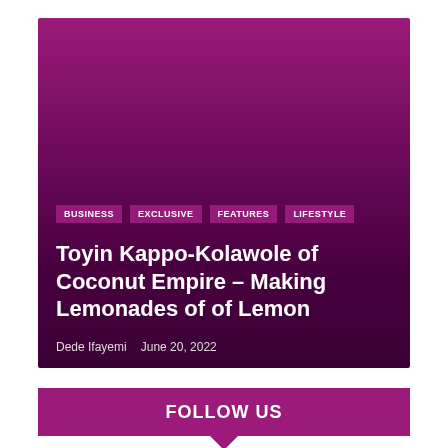[Figure (photo): Dark purple/magenta gradient background hero image area for article]
BUSINESS
EXCLUSIVE
FEATURES
LIFESTYLE
Toyin Kappo-Kolawole of Coconut Empire – Making Lemonades of of Lemon
Dede Ifayemi   June 20, 2022
FOLLOW US